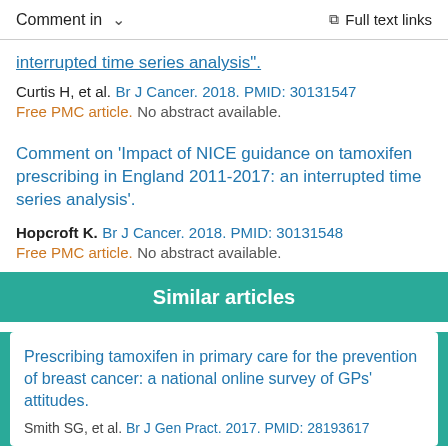Comment in   Full text links
interrupted time series analysis".
Curtis H, et al. Br J Cancer. 2018. PMID: 30131547
Free PMC article. No abstract available.
Comment on 'Impact of NICE guidance on tamoxifen prescribing in England 2011-2017: an interrupted time series analysis'.
Hopcroft K. Br J Cancer. 2018. PMID: 30131548
Free PMC article. No abstract available.
Similar articles
Prescribing tamoxifen in primary care for the prevention of breast cancer: a national online survey of GPs' attitudes.
Smith SG, et al. Br J Gen Pract. 2017. PMID: 28193617